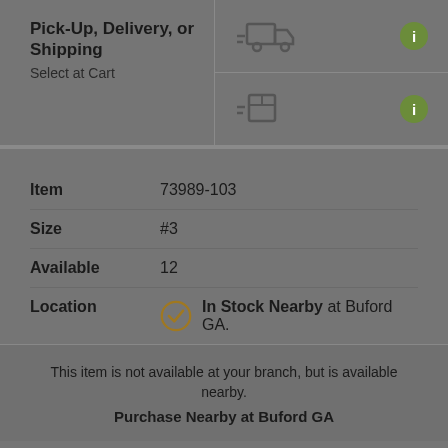Pick-Up, Delivery, or Shipping
Select at Cart
[Figure (illustration): Delivery truck icon with motion lines]
[Figure (illustration): Info button (i) green circle]
[Figure (illustration): Shipping box icon with motion lines]
[Figure (illustration): Info button (i) green circle]
| Item | 73989-103 |
| Size | #3 |
| Available | 12 |
| Location | In Stock Nearby at Buford GA. |
This item is not available at your branch, but is available nearby.
Purchase Nearby at Buford GA